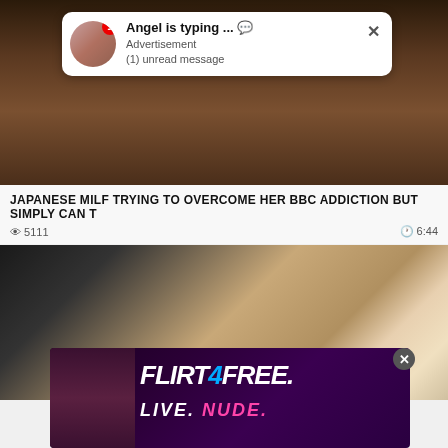[Figure (screenshot): Blurred adult video thumbnail with dark brown tones]
Angel is typing ... 💬
Advertisement
(1) unread message
JAPANESE MILF TRYING TO OVERCOME HER BBC ADDICTION BUT SIMPLY CAN T
👁 5111   🕐 6:44
[Figure (screenshot): Blurred adult video thumbnail, close-up hand covering face]
[Figure (screenshot): FLIRT4FREE advertisement banner with LIVE. NUDE. tagline]